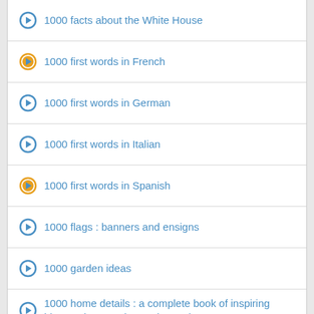1000 facts about the White House
1000 first words in French
1000 first words in German
1000 first words in Italian
1000 first words in Spanish
1000 flags : banners and ensigns
1000 garden ideas
1000 home details : a complete book of inspiring ideas to improve home decoration
1000 ideas for decorating cupcakes, cookies & cakes
1000 inventions and discoveries